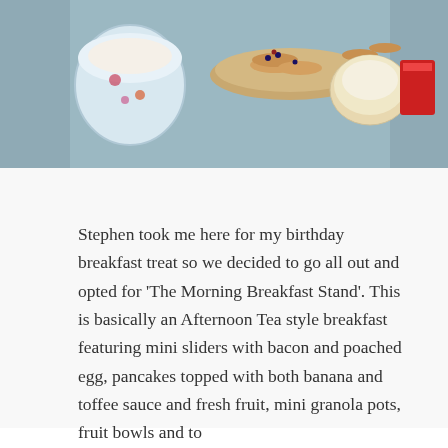[Figure (photo): Overhead view of a breakfast spread including a coffee cup, pancakes topped with fruit, empty bowl, and red-wrapped item on a dark background table.]
Stephen took me here for my birthday breakfast treat so we decided to go all out and opted for 'The Morning Breakfast Stand'. This is basically an Afternoon Tea style breakfast featuring mini sliders with bacon and poached egg, pancakes topped with both banana and toffee sauce and fresh fruit, mini granola pots, fruit bowls and to
[Figure (other): Hamburger menu icon (three horizontal lines)]
LAYER ONE – FRESH FRUIT & GRANOLA POTS
Advertisements
[Figure (other): Advertisement banner: Fewer meetings, more work. with a logo showing a square and the number 2]